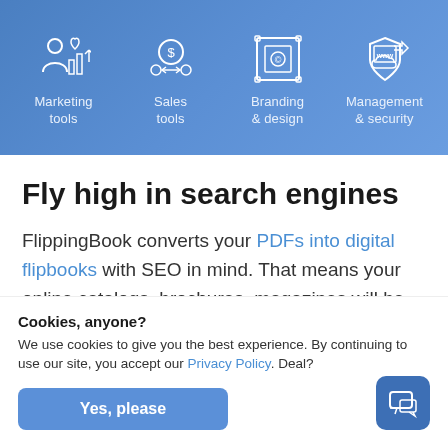[Figure (infographic): Blue navigation bar with four icon+label categories: Marketing tools, Sales tools, Branding & design, Management & security — white line icons on blue gradient background]
Fly high in search engines
FlippingBook converts your PDFs into digital flipbooks with SEO in mind. That means your online catalogs, brochures, magazines will be ranked high in Google and other search engines
Cookies, anyone?
We use cookies to give you the best experience. By continuing to use our site, you accept our Privacy Policy. Deal?
Yes, please